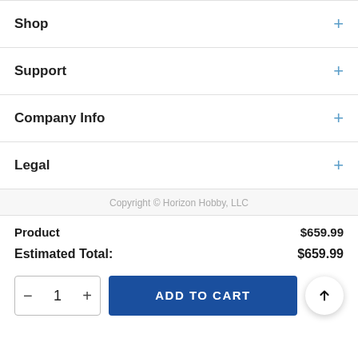Shop
Support
Company Info
Legal
Copyright © Horizon Hobby, LLC
| Product | $659.99 |
| Estimated Total: | $659.99 |